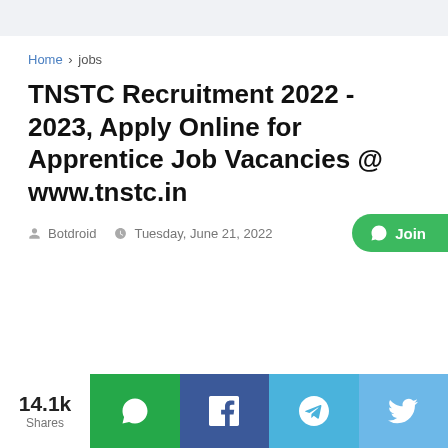Home > jobs
TNSTC Recruitment 2022 - 2023, Apply Online for Apprentice Job Vacancies @ www.tnstc.in
Botdroid  Tuesday, June 21, 2022
[Figure (screenshot): WhatsApp Join button (green pill) at right side]
14.1k Shares
[Figure (infographic): Social share bar with WhatsApp, Facebook, Telegram, Twitter icons]